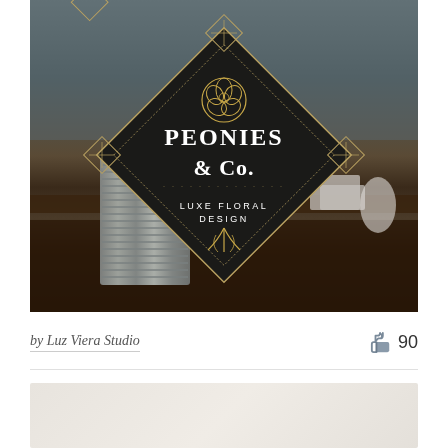[Figure (photo): Photo of a rustic wooden table setup with a galvanized metal bin and various objects. Overlaid with a black diamond-shaped logo for 'Peonies & Co. Luxe Floral Design' with gold decorative elements including a rose illustration.]
by Luz Viera Studio
90
[Figure (photo): Partially visible second image, light gray/beige background, cut off at bottom of page.]